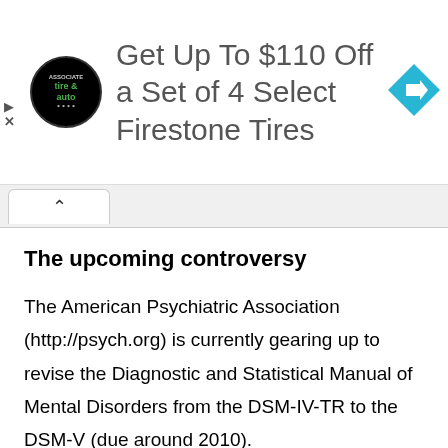[Figure (infographic): Advertisement banner: tire and auto logo circle, text 'Get Up To $110 Off a Set of 4 Select Firestone Tires', blue diamond navigation arrow icon]
The upcoming controversy
The American Psychiatric Association (http://psych.org) is currently gearing up to revise the Diagnostic and Statistical Manual of Mental Disorders from the DSM-IV-TR to the DSM-V (due around 2010).